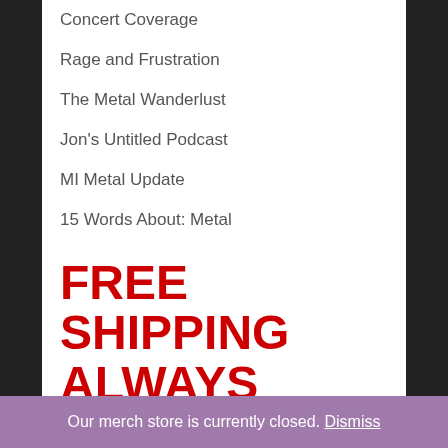Concert Coverage
Rage and Frustration
The Metal Wanderlust
Jon's Untitled Podcast
MI Metal Update
15 Words About: Metal
FREE SHIPPING ALWAYS
MPN Store
Store
Guys Tshirts
Girls T-shirts
Our merch store is currently closed. Dismiss